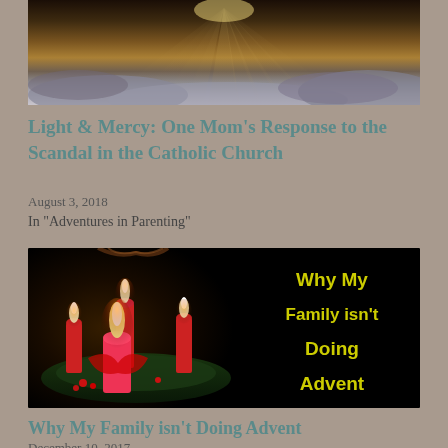[Figure (photo): Sunrays breaking through dramatic cloudy sky, warm golden light rays]
Light & Mercy: One Mom's Response to the Scandal in the Catholic Church
August 3, 2018
In "Adventures in Parenting"
[Figure (photo): Advent wreath with red candles on dark background with yellow text overlay reading: Why My Family isn't Doing Advent]
Why My Family isn't Doing Advent
December 10, 2017